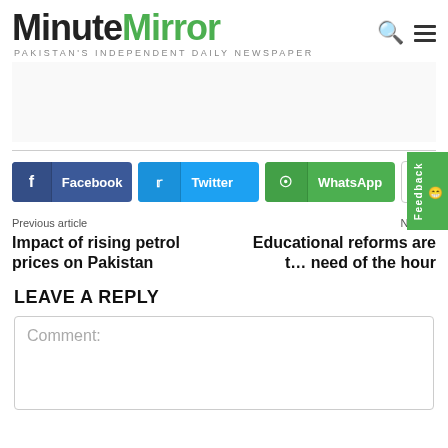[Figure (logo): MinuteMirror logo — 'Minute' in black bold, 'Mirror' in green bold, tagline 'PAKISTAN'S INDEPENDENT DAILY NEWSPAPER' below]
Facebook
Twitter
WhatsApp
Previous article
Impact of rising petrol prices on Pakistan
Next ar...
Educational reforms are the need of the hour
LEAVE A REPLY
Comment: